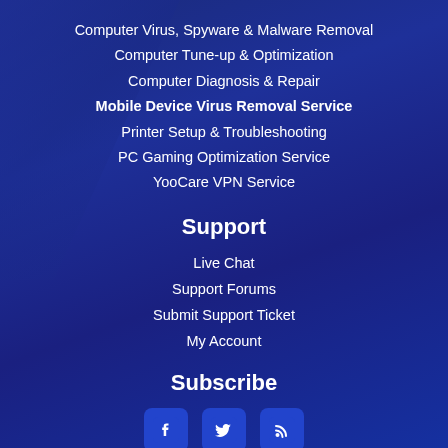Computer Virus, Spyware & Malware Removal
Computer Tune-up & Optimization
Computer Diagnosis & Repair
Mobile Device Virus Removal Service
Printer Setup & Troubleshooting
PC Gaming Optimization Service
YooCare VPN Service
Support
Live Chat
Support Forums
Submit Support Ticket
My Account
Subscribe
[Figure (infographic): Social media icons: Facebook, Twitter, RSS feed]